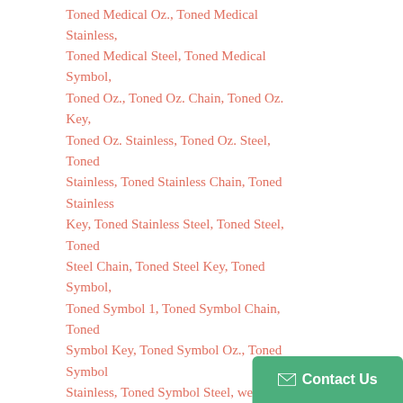Toned Medical Oz., Toned Medical Stainless, Toned Medical Steel, Toned Medical Symbol, Toned Oz., Toned Oz. Chain, Toned Oz. Key, Toned Oz. Stainless, Toned Oz. Steel, Toned Stainless, Toned Stainless Chain, Toned Stainless Key, Toned Stainless Steel, Toned Steel, Toned Steel Chain, Toned Steel Key, Toned Symbol, Toned Symbol 1, Toned Symbol Chain, Toned Symbol Key, Toned Symbol Oz., Toned Symbol Stainless, Toned Symbol Steel, wedding, wedding day, wedding favors, wedding gift, weddings, wedlock
Type: Flasks
Vendor: Kiola Designs
[Figure (other): Social sharing buttons: Tweet (Twitter), Pin it (Pinterest), P LIKE (Pinterest like), Like 0 (Facebook like), and Contact Us button]